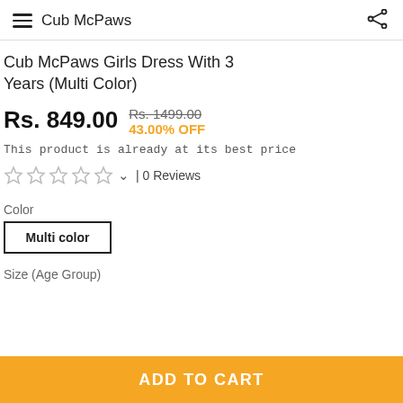Cub McPaws
Cub McPaws Girls Dress With 3 Years (Multi Color)
Rs. 849.00  Rs. 1499.00  43.00% OFF
This product is already at its best price
| 0 Reviews
Color
Multi color
Size (Age Group)
ADD TO CART